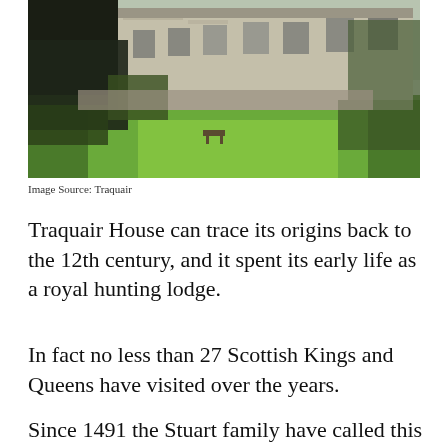[Figure (photo): Exterior view of Traquair House surrounded by lush green lawn and gardens, with stone walls and windows visible, trees and shrubs in background]
Image Source: Traquair
Traquair House can trace its origins back to the 12th century, and it spent its early life as a royal hunting lodge.
In fact no less than 27 Scottish Kings and Queens have visited over the years.
Since 1491 the Stuart family have called this place home, and it's actually one of the oldest inhabited houses in Scotland.
For your wedding day you will have use of some of the public rooms, which as you can imagine are steeped in history.